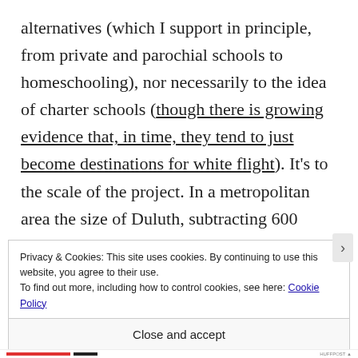alternatives (which I support in principle, from private and parochial schools to homeschooling), nor necessarily to the idea of charter schools (though there is growing evidence that, in time, they tend to just become destinations for white flight). It's to the scale of the project. In a metropolitan area the size of Duluth, subtracting 600 students from local
Privacy & Cookies: This site uses cookies. By continuing to use this website, you agree to their use.
To find out more, including how to control cookies, see here: Cookie Policy
Close and accept